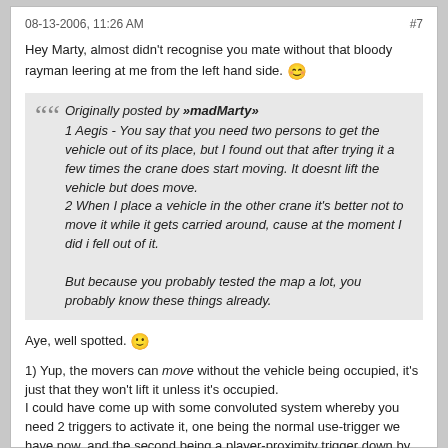08-13-2006, 11:26 AM   #7
Hey Marty, almost didn't recognise you mate without that bloody rayman leering at me from the left hand side. 😊
Originally posted by »madMarty»
1 Aegis - You say that you need two persons to get the vehicle out of its place, but I found out that after trying it a few times the crane does start moving. It doesnt lift the vehicle but does move.
2 When I place a vehicle in the other crane it's better not to move it while it gets carried around, cause at the moment I did i fell out of it.

But because you probably tested the map a lot, you probably know these things already.
Aye, well spotted. 🙂
1) Yup, the movers can move without the vehicle being occupied, it's just that they won't lift it unless it's occupied.
I could have come up with some convoluted system whereby you need 2 triggers to activate it, one being the normal use-trigger we have now, and the second being a player-proximity trigger down by the vehicle, so unless both were triggered nothing would happen, but tbh it seemed a bit too ott at the time.